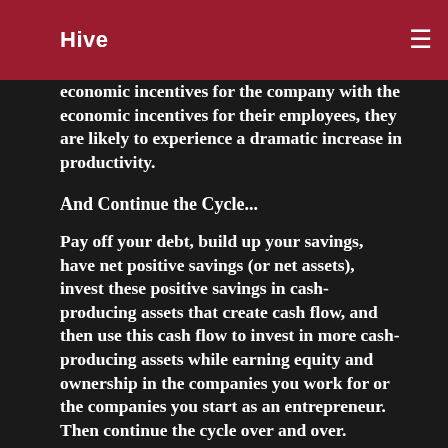Hive
economic incentives for the company with the economic incentives for their employees, they are likely to experience a dramatic increase in productivity.
And Continue the Cycle...
Pay off your debt, build up your savings, have net positive savings (or net assets), invest these positive savings in cash-producing assets that create cash flow, and then use this cash flow to invest in more cash-producing assets while earning equity and ownership in the companies you work for or the companies you start as an entrepreneur. Then continue the cycle over and over.
This is the simple formula for building wealth. But while it may be simple, very few people actually follow it. If you follow this formula, not for one year, not for five years, but for 20, 25, 30 years, you'll most